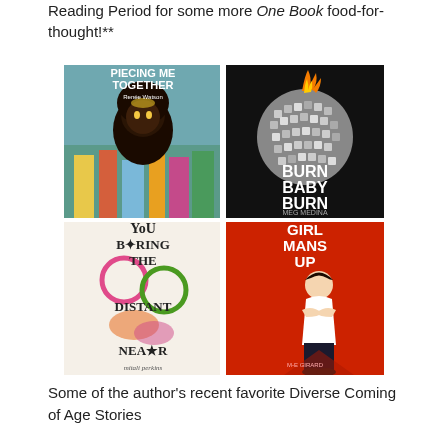Reading Period for some more One Book food-for-thought!**
[Figure (illustration): A 2x2 grid of book covers: top-left 'Piecing Me Together' by Renée Watson, top-right 'Burn Baby Burn' by Meg Medina, bottom-left 'You Bring the Distant Near' by Mitali Perkins, bottom-right 'Girl Mans Up' by M-E Girard.]
Some of the author's recent favorite Diverse Coming of Age Stories